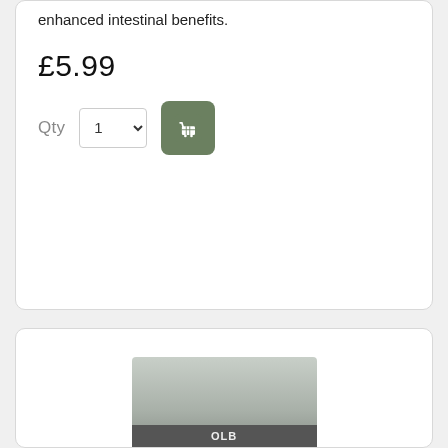enhanced intestinal benefits.
£5.99
Qty 1 [add to cart button]
[Figure (photo): Product image partially visible at bottom of second card, appears to be a silver/metallic packaged product]